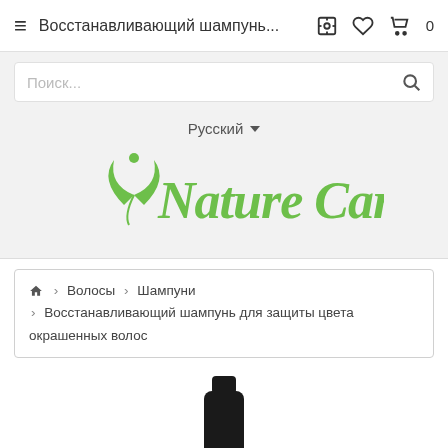≡ Восстанавливающий шампунь... ⚙ ♡ 🛒 0
Поиск...
Русский ▼
[Figure (logo): Nature Care brand logo in green cursive lettering with a leaf and person icon]
🏠 > Волосы > Шампуни > Восстанавливающий шампунь для защиты цвета окрашенных волос
[Figure (photo): Black shampoo bottle product image, partially visible at bottom of page]